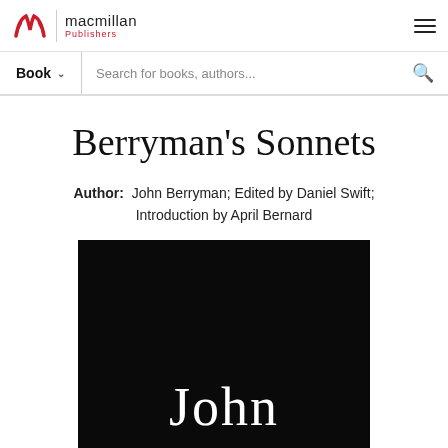macmillan Publishers
Book | Search for books, authors...
Berryman's Sonnets
Author: John Berryman; Edited by Daniel Swift; Introduction by April Bernard
[Figure (photo): Book cover of Berryman's Sonnets showing white serif text 'John' on a black background]